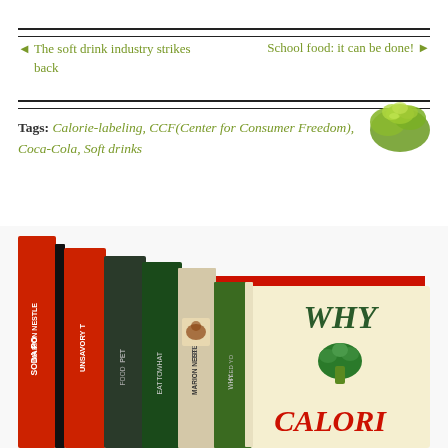◄ The soft drink industry strikes back    School food: it can be done! ►
Tags: Calorie-labeling, CCF(Center for Consumer Freedom), Coca-Cola, Soft drinks
[Figure (photo): Stack of books by Marion Nestle including 'Soda Politics', 'Unsavory Truth', 'Pet Food Politics', 'Feed Your Pet Right', 'Why Calories Count', and 'Why Calories' visible. Books arranged in a fanned stack showing spines and covers.]